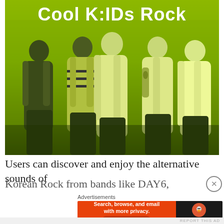[Figure (photo): Five young Korean men (K-pop/Korean rock group) posing together against a lime-green tinted background with the title 'Cool K:IDs Rock' in large white bold text at the top.]
Users can discover and enjoy the alternative sounds of
Korean Rock from bands like DAY6, HYUKOHand more
Advertisements
[Figure (screenshot): DuckDuckGo advertisement banner: 'Search, browse, and email with more privacy. All in One Free App' on orange background with DuckDuckGo logo on dark background.]